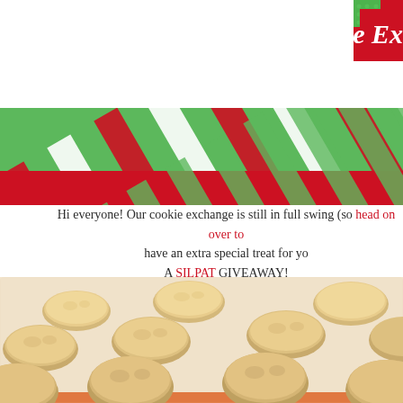[Figure (illustration): Christmas Cookie Exchange banner with red background, italic white text reading 'Christmas Cookie Ex', green polka dot accent square, and diagonal red and green candy-cane stripe ribbon below]
Hi everyone! Our cookie exchange is still in full swing (so head on over to have an extra special treat for yo A SILPAT GIVEAWAY!
[Figure (photo): Overhead photo of round, golden-brown coconut or oatmeal cookies arranged on a silicone baking mat (Silpat) with a pinkish-orange border]